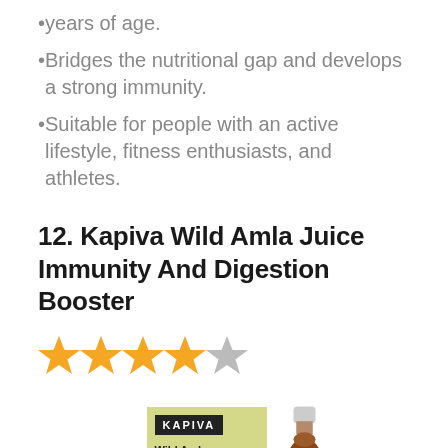years of age.
Bridges the nutritional gap and develops a strong immunity.
Suitable for people with an active lifestyle, fitness enthusiasts, and athletes.
12. Kapiva Wild Amla Juice Immunity And Digestion Booster
[Figure (other): 4 out of 5 stars rating displayed with orange filled stars and one gray star]
[Figure (photo): Product photo of Kapiva Wild Amla Juice box (yellow-green) with KAPIVA branding label in black, beside a brown glass bottle with white cap]